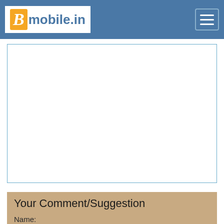Bmobile.in
[Figure (other): Empty white advertisement/content box with light blue border]
Your Comment/Suggestion
Name: